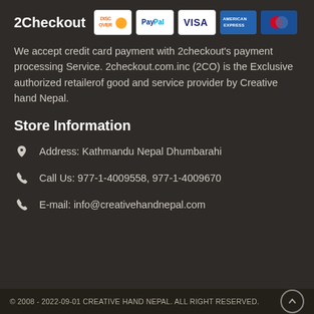2Checkout
[Figure (logo): Payment method icons: Discover, PayPal, Visa, American Express, and a red/blue dot card icon]
We accept credit card payment with 2checkout's payment processing Service. 2checkout.com.inc (2CO) is the Exclusive authorized retailerof good and service provider by Creative hand Nepal.
Store Information
Address: Kathmandu Nepal Dhumbarahi
Call Us: 977-1-4009558, 977-1-4009670
E-mail: info@creativehandnepal.com
© 2008 - 2022-09-01 CREATIVE HAND NEPAL. ALL RIGHT RESERVED.